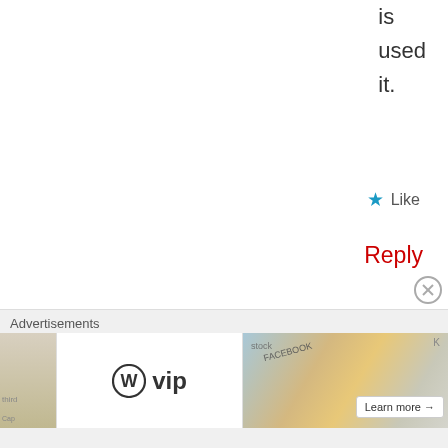is used it.
★ Like
Reply
La Decima
August 11, 2014  10:55 am
[Figure (illustration): Pixel art avatar - brown square with teal cross/plus shape cutout pattern]
If you wanna go thro how you got every minute in extra time. you
Advertisements
[Figure (logo): WordPress VIP logo - W circle icon followed by 'vip' text]
Learn more →
[Figure (other): Advertisement banner with colorful stock/social media imagery]